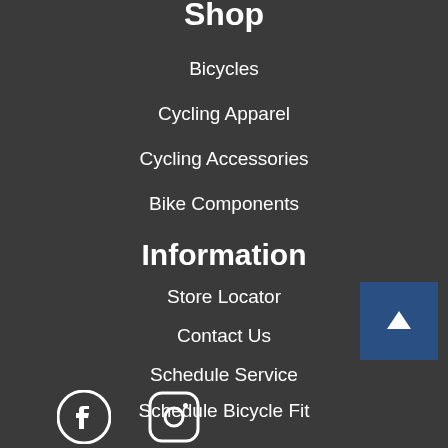Shop
Bicycles
Cycling Apparel
Cycling Accessories
Bike Components
Information
Store Locator
Contact Us
Schedule Service
Schedule Bicycle Fit
[Figure (other): Back to top button (dark blue square with upward arrow)]
[Figure (other): Social media icons: Facebook and Instagram]